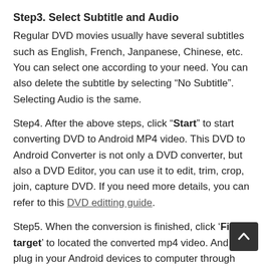Step3. Select Subtitle and Audio
Regular DVD movies usually have several subtitles such as English, French, Janpanese, Chinese, etc. You can select one according to your need. You can also delete the subtitle by selecting “No Subtitle”. Selecting Audio is the same.
Step4. After the above steps, click “Start” to start converting DVD to Android MP4 video. This DVD to Android Converter is not only a DVD converter, but also a DVD Editor, you can use it to edit, trim, crop, join, capture DVD. If you need more details, you can refer to this DVD editting guide.
Step5. When the conversion is finished, click ‘Find target’ to located the converted mp4 video. And then plug in your Android devices to computer through USB cable or wifi connection, and then copy the mp4 video to your Android devices memory card or storage. That’s all, it couldn’t be easier to put DVD movie on Android devices like that.